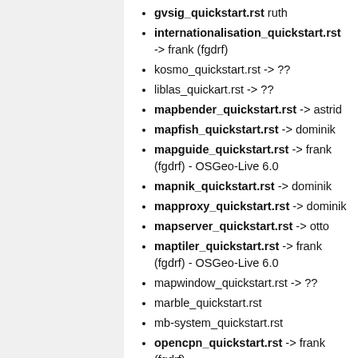gvsig_quickstart.rst ruth
internationalisation_quickstart.rst -> frank (fgdrf)
kosmo_quickstart.rst -> ??
liblas_quickart.rst -> ??
mapbender_quickstart.rst -> astrid
mapfish_quickstart.rst -> dominik
mapguide_quickstart.rst -> frank (fgdrf) - OSGeo-Live 6.0
mapnik_quickstart.rst -> dominik
mapproxy_quickstart.rst -> dominik
mapserver_quickstart.rst -> otto
maptiler_quickstart.rst -> frank (fgdrf) - OSGeo-Live 6.0
mapwindow_quickstart.rst -> ??
marble_quickstart.rst
mb-system_quickstart.rst
opencpn_quickstart.rst -> frank (fgdrf)